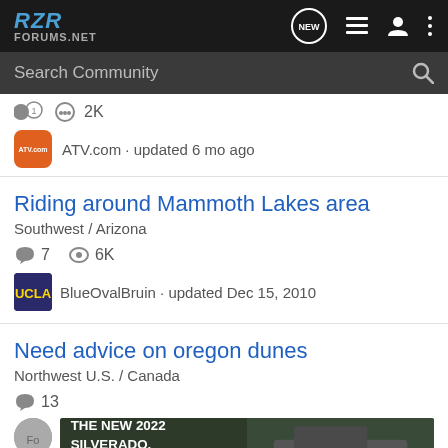RZR FORUMS.NET
Search Community
ATV.com · updated 6 mo ago
Riding around Mammoth Lakes area
Southwest / Arizona
7  6K
BlueOvalBruin · updated Dec 15, 2010
Need advice on oregon dunes
Northwest U.S. / Canada
13
[Figure (photo): Chevrolet Silverado 2022 advertisement banner showing truck with text 'THE NEW 2022 SILVERADO.' and Explore button and Chevrolet logo]